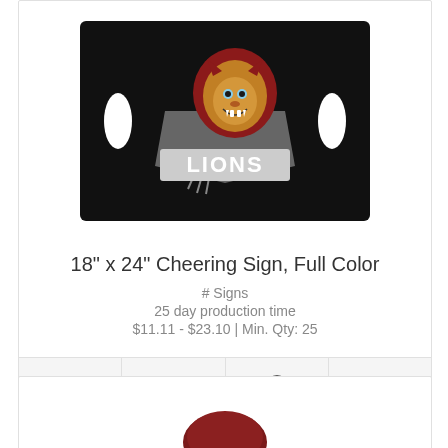[Figure (photo): Black cheering sign with Lions mascot logo (roaring lion head in orange/red with gray shield) printed in full color, with two oval hand-hold cutouts on the left and right sides]
18" x 24" Cheering Sign, Full Color
# Signs
25 day production time
$11.11 - $23.10 | Min. Qty: 25
[Figure (screenshot): Bottom portion of a second product card showing a dark red/maroon circular product image partially visible at the bottom]